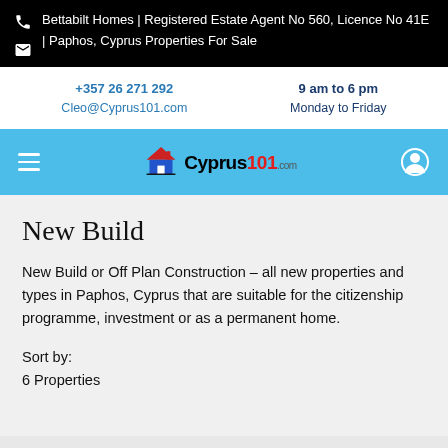Bettabilt Homes | Registered Estate Agent No 560, Licence No 41E | Paphos, Cyprus Properties For Sale
+357 26 271 292
Cleo@Cyprus101.com
9 am to 6 pm
Monday to Friday
[Figure (logo): Cyprus101.com logo with house icon and navigation bar]
New Build
New Build or Off Plan Construction – all new properties and types in Paphos, Cyprus that are suitable for the citizenship programme, investment or as a permanent home.
Sort by:
6 Properties